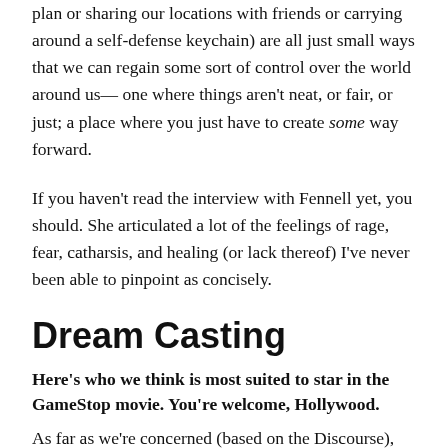plan or sharing our locations with friends or carrying around a self-defense keychain) are all just small ways that we can regain some sort of control over the world around us— one where things aren't neat, or fair, or just; a place where you just have to create some way forward.
If you haven't read the interview with Fennell yet, you should. She articulated a lot of the feelings of rage, fear, catharsis, and healing (or lack thereof) I've never been able to pinpoint as concisely.
Dream Casting
Here's who we think is most suited to star in the GameStop movie. You're welcome, Hollywood.
As far as we're concerned (based on the Discourse),